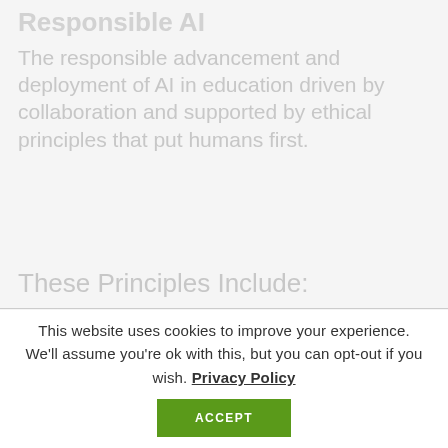Responsible AI
The responsible advancement and deployment of AI in education driven by collaboration and supported by ethical principles that put humans first.
These Principles Include:
This website uses cookies to improve your experience. We'll assume you're ok with this, but you can opt-out if you wish. Privacy Policy ACCEPT